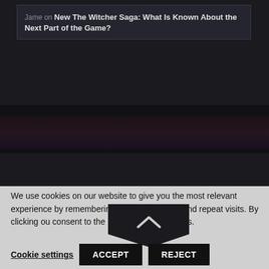Jame on New The Witcher Saga: What Is Known About the Next Part of the Game?
© 2022 Terms | Privacy Policy | World of Warcraft® and Blizzard Entertainment® are all trademarks or registered trademarks of Blizzard Entertainment in the United States and/or other countries. These terms and all related materials, logos, and images are copyright © Blizzard Entertainment. This site is in no way associated with or endorsed by
We use cookies on our website to give you the most relevant experience by remembering your preferences and repeat visits. By clicking ou consent to the use of ALL the cookies.
Cookie settings    ACCEPT    REJECT